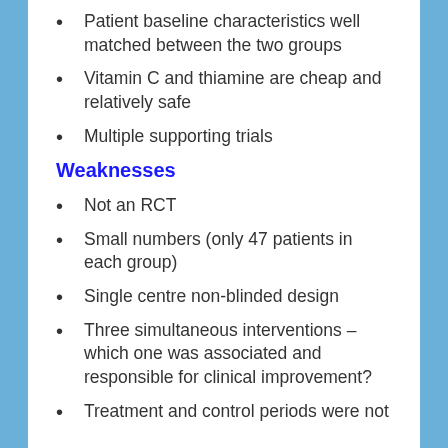Patient baseline characteristics well matched between the two groups
Vitamin C and thiamine are cheap and relatively safe
Multiple supporting trials
Weaknesses
Not an RCT
Small numbers (only 47 patients in each group)
Single centre non-blinded design
Three simultaneous interventions – which one was associated and responsible for clinical improvement?
Treatment and control periods were not